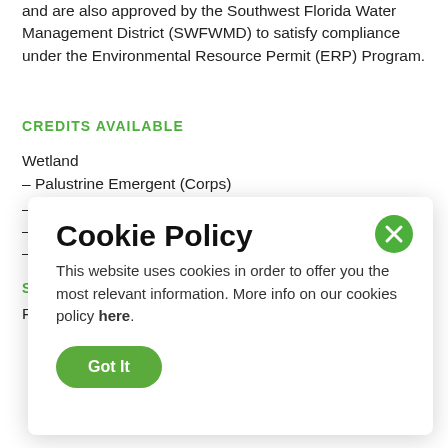and are also approved by the Southwest Florida Water Management District (SWFWMD) to satisfy compliance under the Environmental Resource Permit (ERP) Program.
CREDITS AVAILABLE
Wetland
– Palustrine Emergent (Corps)
–
–
–
S
P
Cookie Policy
This website uses cookies in order to offer you the most relevant information. More info on our cookies policy here.
Got It